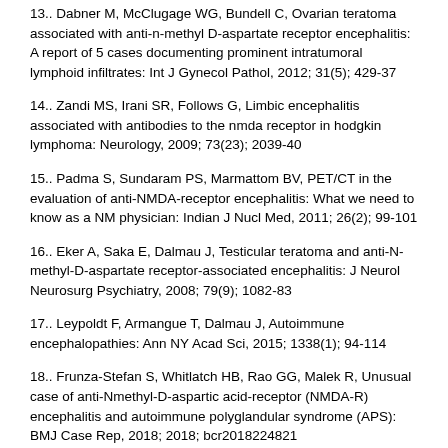13.. Dabner M, McClugage WG, Bundell C, Ovarian teratoma associated with anti-n-methyl D-aspartate receptor encephalitis: A report of 5 cases documenting prominent intratumoral lymphoid infiltrates: Int J Gynecol Pathol, 2012; 31(5); 429-37
14.. Zandi MS, Irani SR, Follows G, Limbic encephalitis associated with antibodies to the nmda receptor in hodgkin lymphoma: Neurology, 2009; 73(23); 2039-40
15.. Padma S, Sundaram PS, Marmattom BV, PET/CT in the evaluation of anti-NMDA-receptor encephalitis: What we need to know as a NM physician: Indian J Nucl Med, 2011; 26(2); 99-101
16.. Eker A, Saka E, Dalmau J, Testicular teratoma and anti-N-methyl-D-aspartate receptor-associated encephalitis: J Neurol Neurosurg Psychiatry, 2008; 79(9); 1082-83
17.. Leypoldt F, Armangue T, Dalmau J, Autoimmune encephalopathies: Ann NY Acad Sci, 2015; 1338(1); 94-114
18.. Frunza-Stefan S, Whitlatch HB, Rao GG, Malek R, Unusual case of anti-Nmethyl-D-aspartic acid-receptor (NMDA-R) encephalitis and autoimmune polyglandular syndrome (APS): BMJ Case Rep, 2018; 2018; bcr2018224821